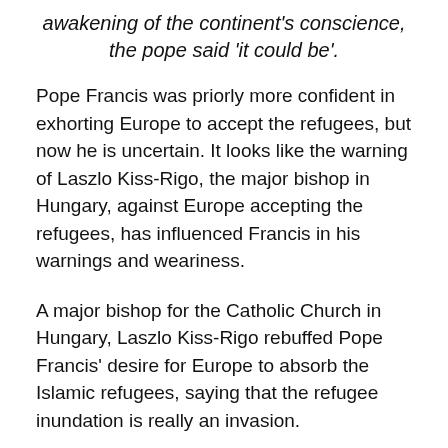awakening of the continent's conscience, the pope said 'it could be'.
Pope Francis was priorly more confident in exhorting Europe to accept the refugees, but now he is uncertain. It looks like the warning of Laszlo Kiss-Rigo, the major bishop in Hungary, against Europe accepting the refugees, has influenced Francis in his warnings and weariness.
A major bishop for the Catholic Church in Hungary, Laszlo Kiss-Rigo rebuffed Pope Francis' desire for Europe to absorb the Islamic refugees, saying that the refugee inundation is really an invasion.
According to the report: